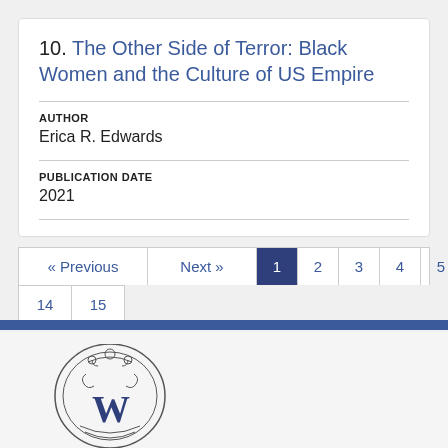10. The Other Side of Terror: Black Women and the Culture of US Empire
AUTHOR
Erica R. Edwards
PUBLICATION DATE
2021
[Figure (other): Pagination navigation with Previous, Next, page numbers 1-5, ellipsis, 14, 15. Page 1 is active/selected with dark blue background.]
[Figure (logo): University press logo - circular emblem with decorative W letter inside ornamental border]